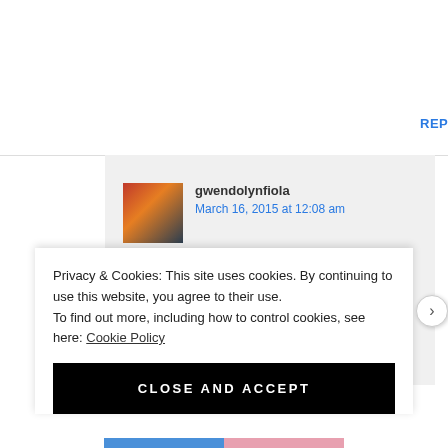REPLY
[Figure (photo): Avatar photo of gwendolynfiola, a woman with dark hair]
gwendolynfiola
March 16, 2015 at 12:08 am
Hi Sharline! Thank you so much for taking the time to read! I'm humbled that...
Privacy & Cookies: This site uses cookies. By continuing to use this website, you agree to their use.
To find out more, including how to control cookies, see here: Cookie Policy
CLOSE AND ACCEPT